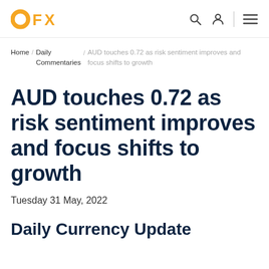OFX
Home / Daily Commentaries / AUD touches 0.72 as risk sentiment improves and focus shifts to growth
AUD touches 0.72 as risk sentiment improves and focus shifts to growth
Tuesday 31 May, 2022
Daily Currency Update